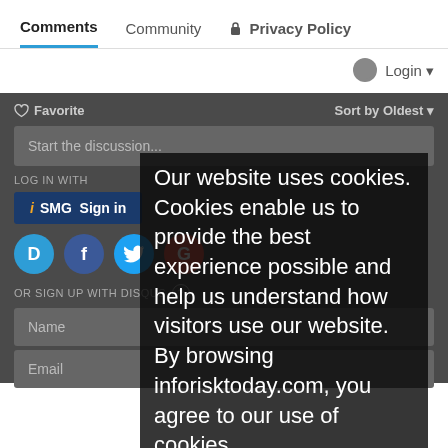Comments
Community
🔒 Privacy Policy
Login ▾
❤ Favorite
Sort by Oldest ▾
Start the discussion...
LOG IN WITH
iSMG Sign in
OR SIGN UP WITH DISQUS ?
Name
Email
Our website uses cookies. Cookies enable us to provide the best experience possible and help us understand how visitors use our website. By browsing inforisktoday.com, you agree to our use of cookies.